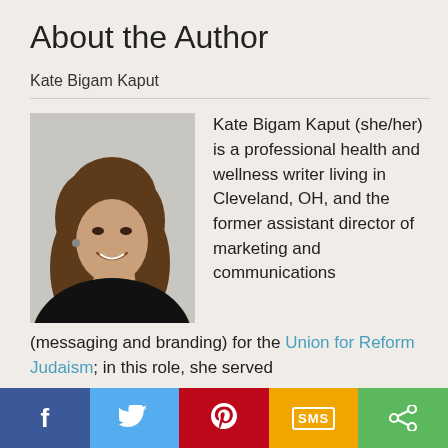About the Author
Kate Bigam Kaput
[Figure (photo): Headshot of Kate Bigam Kaput, a woman with long brown hair, smiling, wearing a black top, light gray background.]
Kate Bigam Kaput (she/her) is a professional health and wellness writer living in Cleveland, OH, and the former assistant director of marketing and communications (messaging and branding) for the Union for Reform Judaism; in this role, she served
f  (twitter)  (pinterest)  SMS  (share)